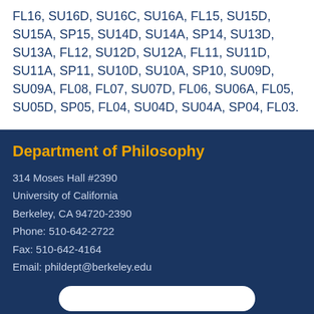FL16, SU16D, SU16C, SU16A, FL15, SU15D, SU15A, SP15, SU14D, SU14A, SP14, SU13D, SU13A, FL12, SU12D, SU12A, FL11, SU11D, SU11A, SP11, SU10D, SU10A, SP10, SU09D, SU09A, FL08, FL07, SU07D, FL06, SU06A, FL05, SU05D, SP05, FL04, SU04D, SU04A, SP04, FL03.
Department of Philosophy
314 Moses Hall #2390
University of California
Berkeley, CA 94720-2390
Phone: 510-642-2722
Fax: 510-642-4164
Email: phildept@berkeley.edu
Donate | Internal pages | Site admin